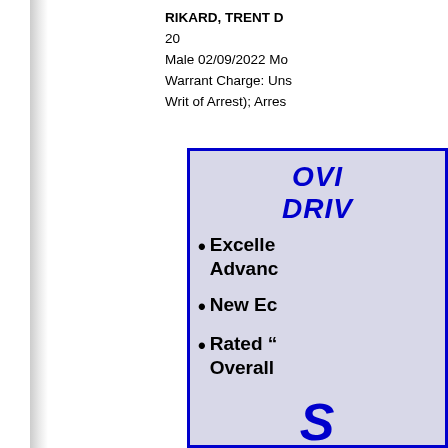RIKARD, TRENT D
20
Male 02/09/2022 Mo
Warrant Charge: Uns
Writ of Arrest); Arres
[Figure (infographic): Blue-bordered box with light blue-gray background containing promotional/advertisement text. Title in large blue italic bold: 'OVI... DRIV...' (Over the Limit, Drive You Home style heading). Three bullet points in large bold black text: 'Excelle... Advance...', 'New Ec...', 'Rated "... Overall...' followed by large blue italic 'S' at bottom.]